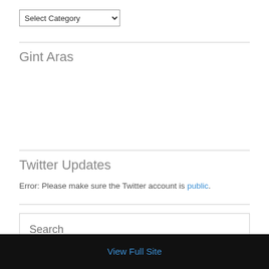[Figure (other): Dropdown select element labeled 'Select Category']
Gint Aras
Twitter Updates
Error: Please make sure the Twitter account is public.
[Figure (other): Search input field with placeholder text 'Search']
View Full Site